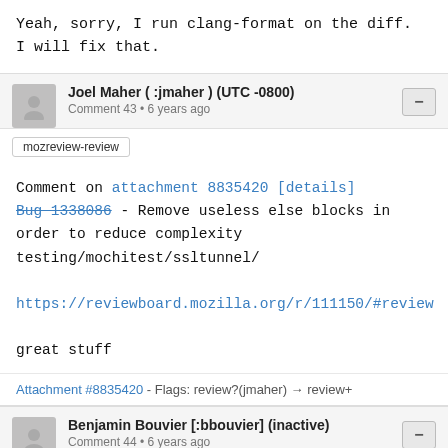Yeah, sorry, I run clang-format on the diff.
I will fix that.
Joel Maher (:jmaher) (UTC -0800)
Comment 43 • 6 years ago
mozreview-review
Comment on attachment 8835420 [details]
Bug 1338086 - Remove useless else blocks in order to reduce complexity
testing/mochitest/ssltunnel/

https://reviewboard.mozilla.org/r/111150/#review

great stuff
Attachment #8835420 - Flags: review?(jmaher) → review+
Benjamin Bouvier [:bbouvier] (inactive)
Comment 44 • 6 years ago